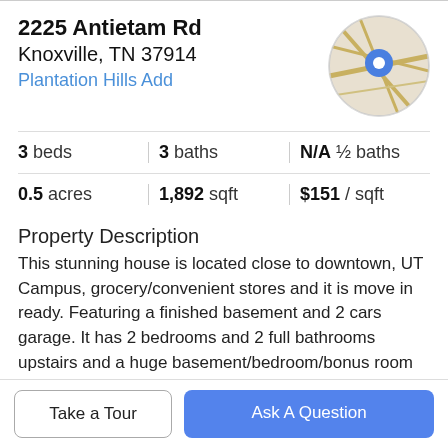2225 Antietam Rd
Knoxville, TN 37914
Plantation Hills Add
[Figure (map): Circular map thumbnail showing street map with a blue location pin marker]
| 3 beds | 3 baths | N/A ½ baths |
| 0.5 acres | 1,892 sqft | $151 / sqft |
Property Description
This stunning house is located close to downtown, UT Campus, grocery/convenient stores and it is move in ready. Featuring a finished basement and 2 cars garage. It has 2 bedrooms and 2 full bathrooms upstairs and a huge basement/bedroom/bonus room and a full bathroom with
Take a Tour
Ask A Question